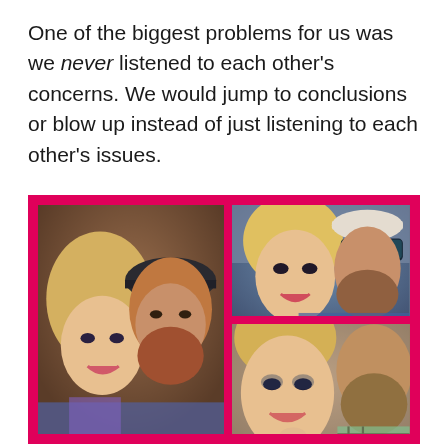One of the biggest problems for us was we never listened to each other's concerns. We would jump to conclusions or blow up instead of just listening to each other's issues.
[Figure (photo): Collage of three couple selfie photos arranged in a pink/magenta bordered frame. Left: large photo of a blonde woman and a bearded man wearing a cap. Top right: blonde woman and a bearded man wearing sunglasses. Bottom right: close-up of a blonde woman and a bearded man.]